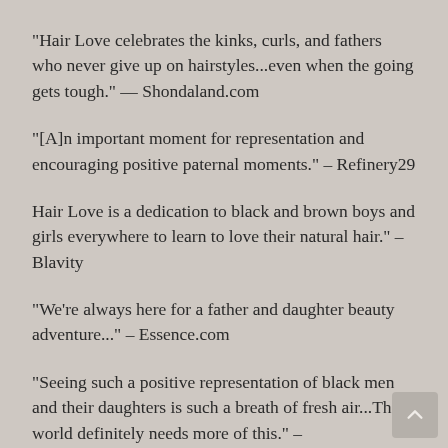"Hair Love celebrates the kinks, curls, and fathers who never give up on hairstyles...even when the going gets tough." — Shondaland.com
"[A]n important moment for representation and encouraging positive paternal moments." – Refinery29
Hair Love is a dedication to black and brown boys and girls everywhere to learn to love their natural hair." – Blavity
"We're always here for a father and daughter beauty adventure..." – Essence.com
"Seeing such a positive representation of black men and their daughters is such a breath of fresh air...The world definitely needs more of this." – TeenVogue.com
"A wonderful slice-of-life tale about family support, black hair, and embracing individuality." --School Library Journal, starred